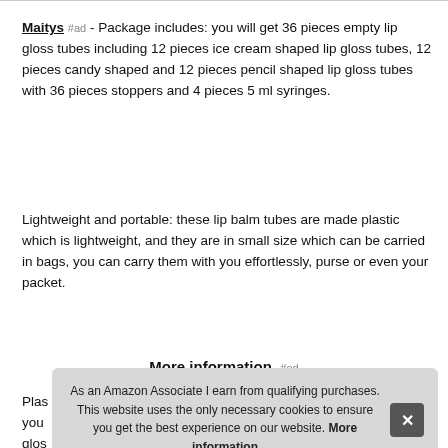Maitys #ad - Package includes: you will get 36 pieces empty lip gloss tubes including 12 pieces ice cream shaped lip gloss tubes, 12 pieces candy shaped and 12 pieces pencil shaped lip gloss tubes with 36 pieces stoppers and 4 pieces 5 ml syringes.
Lightweight and portable: these lip balm tubes are made plastic which is lightweight, and they are in small size which can be carried in bags, you can carry them with you effortlessly, purse or even your packet.
More information #ed
Plas... you... glos... con...
As an Amazon Associate I earn from qualifying purchases. This website uses the only necessary cookies to ensure you get the best experience on our website. More information